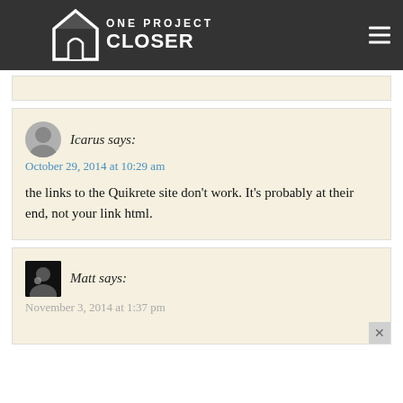ONE PROJECT CLOSER
Icarus says:
October 29, 2014 at 10:29 am
the links to the Quikrete site don't work. It's probably at their end, not your link html.
Matt says:
November 3, 2014 at 1:37 pm